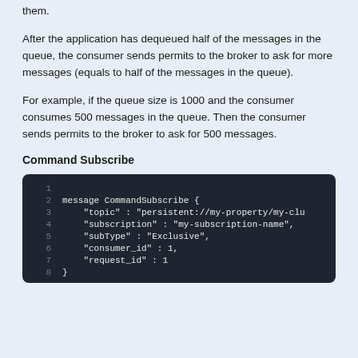them.
After the application has dequeued half of the messages in the queue, the consumer sends permits to the broker to ask for more messages (equals to half of the messages in the queue).
For example, if the queue size is 1000 and the consumer consumes 500 messages in the queue. Then the consumer sends permits to the broker to ask for 500 messages.
Command Subscribe
[Figure (screenshot): Dark-themed code block showing a CommandSubscribe message definition with fields: topic, subscription, subType, consumer_id, request_id, and closing brace. Lines are numbered 1-8.]